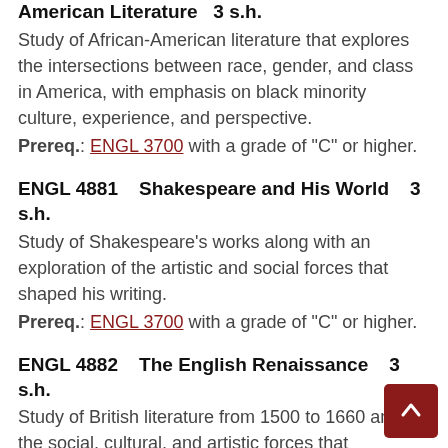American Literature   3 s.h.
Study of African-American literature that explores the intersections between race, gender, and class in America, with emphasis on black minority culture, experience, and perspective.
Prereq.: ENGL 3700 with a grade of "C" or higher.
ENGL 4881   Shakespeare and His World   3 s.h.
Study of Shakespeare's works along with an exploration of the artistic and social forces that shaped his writing.
Prereq.: ENGL 3700 with a grade of "C" or higher.
ENGL 4882   The English Renaissance   3 s.h.
Study of British literature from 1500 to 1660 and the social, cultural, and artistic forces that influenced it.
Prereq.: ENGL 3700 with a grade of "C" or